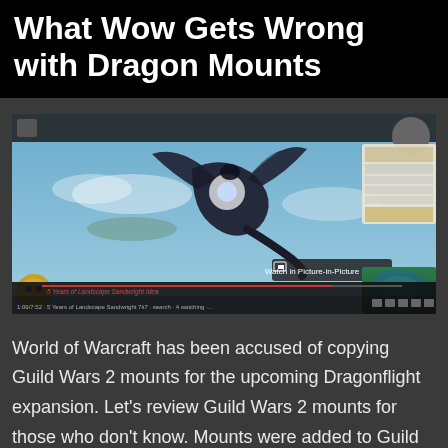What Wow Gets Wrong with Dragon Mounts
[Figure (screenshot): Screenshot of a video player showing a dragon mount flying in Guild Wars 2, set against a blue sky background. The video player shows typical YouTube interface elements including a 'Watch in Picture-in-Picture' button, progress bar with text '5 Years of Landscape Sandwright Idea', and a minimap in the bottom right corner. A bear character icon is visible in the bottom left.]
World of Warcraft has been accused of copying Guild Wars 2 mounts for the upcoming Dragonflight expansion. Let's review Guild Wars 2 mounts for those who don't know. Mounts were added to Guild Wars 2 in Path of Fire. Before that